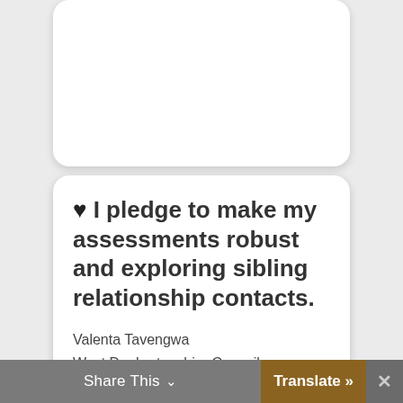♥ I pledge to make my assessments robust and exploring sibling relationship contacts.
Valenta Tavengwa
West Dunbartonshire Council
March 25, 2019
Share This  ∨    Translate »  ✕